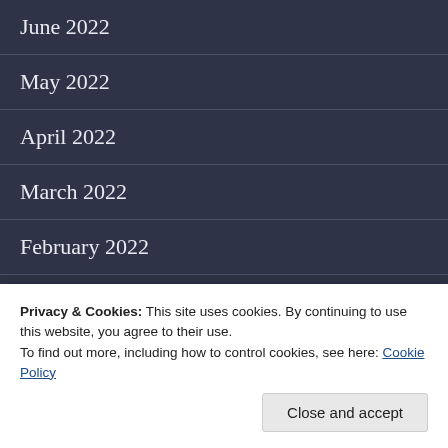June 2022
May 2022
April 2022
March 2022
February 2022
January 2022
December 2021
November 2021
October 2021
Privacy & Cookies: This site uses cookies. By continuing to use this website, you agree to their use.
To find out more, including how to control cookies, see here: Cookie Policy
Close and accept